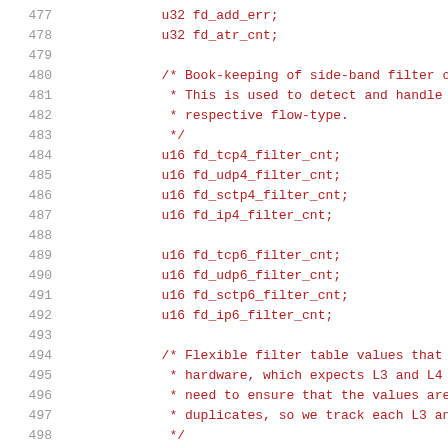Source code listing lines 477-498, showing C struct field declarations and block comments for filter counters
477: u32 fd_add_err;
478: u32 fd_atr_cnt;
479: (blank)
480: /* Book-keeping of side-band filter cou
481:  * This is used to detect and handle in
482:  * respective flow-type.
483:  */
484: u16 fd_tcp4_filter_cnt;
485: u16 fd_udp4_filter_cnt;
486: u16 fd_sctp4_filter_cnt;
487: u16 fd_ip4_filter_cnt;
488: (blank)
489: u16 fd_tcp6_filter_cnt;
490: u16 fd_udp6_filter_cnt;
491: u16 fd_sctp6_filter_cnt;
492: u16 fd_ip6_filter_cnt;
493: (blank)
494: /* Flexible filter table values that ne
495:  * hardware, which expects L3 and L4 to
496:  * need to ensure that the values are i
497:  * duplicates, so we track each L3 and
498:  */